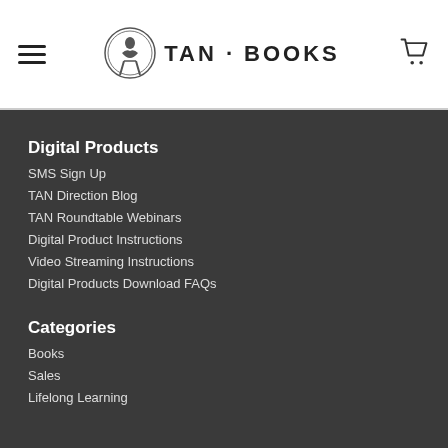[Figure (logo): TAN Books logo with circular emblem and text 'TAN · BOOKS']
Digital Products
SMS Sign Up
TAN Direction Blog
TAN Roundtable Webinars
Digital Product Instructions
Video Streaming Instructions
Digital Products Download FAQs
Categories
Books
Sales
Lifelong Learning